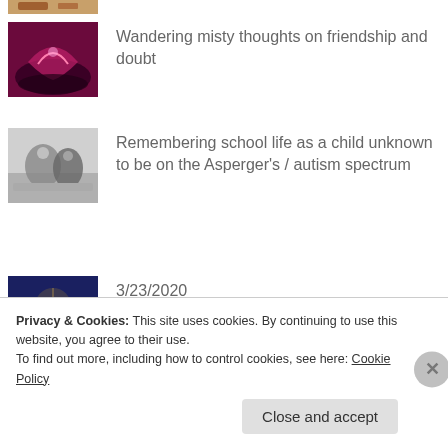[Figure (photo): Partial thumbnail visible at top of page, brown/tan colors]
Wandering misty thoughts on friendship and doubt
[Figure (photo): Red/pink tree with reflections thumbnail]
Remembering school life as a child unknown to be on the Asperger's / autism spectrum
[Figure (photo): Black and white wolves/animals in snow thumbnail]
3/23/2020
[Figure (photo): Colorful city/fantasy night scene thumbnail]
'Stop caring about what other people think'
[Figure (photo): Colorful spiral/psychedelic art thumbnail]
Privacy & Cookies: This site uses cookies. By continuing to use this website, you agree to their use.
To find out more, including how to control cookies, see here: Cookie Policy
Close and accept